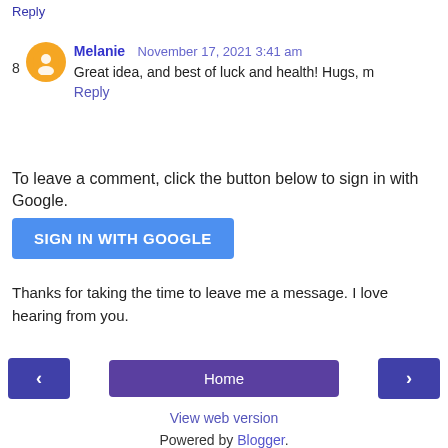Reply
8  Melanie  November 17, 2021 3:41 am
Great idea, and best of luck and health! Hugs, m
Reply
To leave a comment, click the button below to sign in with Google.
[Figure (other): SIGN IN WITH GOOGLE button]
Thanks for taking the time to leave me a message. I love hearing from you.
[Figure (other): Navigation buttons: left arrow, Home, right arrow]
View web version
Powered by Blogger.